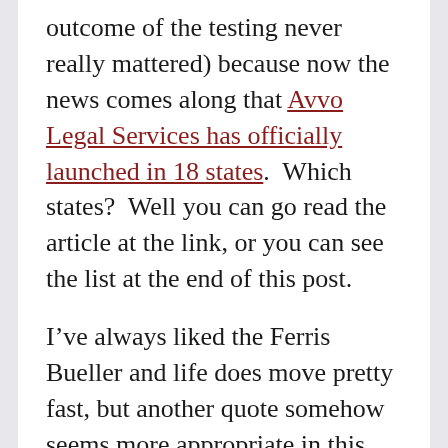outcome of the testing never really mattered) because now the news comes along that Avvo Legal Services has officially launched in 18 states.  Which states?  Well you can go read the article at the link, or you can see the list at the end of this post.
I've always liked the Ferris Bueller and life does move pretty fast, but another quote somehow seems more appropriate in this moment, though it comes from someone much less lovable: